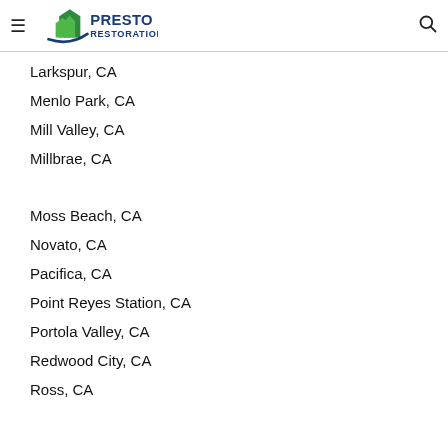Presto Restoration
Larkspur, CA
Menlo Park, CA
Mill Valley, CA
Millbrae, CA
Moss Beach, CA
Novato, CA
Pacifica, CA
Point Reyes Station, CA
Portola Valley, CA
Redwood City, CA
Ross, CA